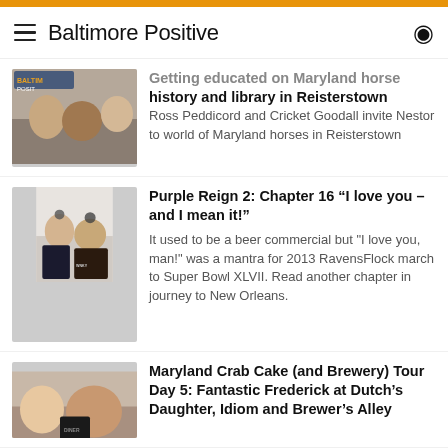Baltimore Positive
Getting educated on Maryland horse history and library in Reisterstown
Ross Peddicord and Cricket Goodall invite Nestor to world of Maryland horses in Reisterstown
Purple Reign 2: Chapter 16 “I love you – and I mean it!”
It used to be a beer commercial but "I love you, man!" was a mantra for 2013 RavensFlock march to Super Bowl XLVII. Read another chapter in journey to New Orleans.
Maryland Crab Cake (and Brewery) Tour Day 5: Fantastic Frederick at Dutch’s Daughter, Idiom and Brewer’s Alley